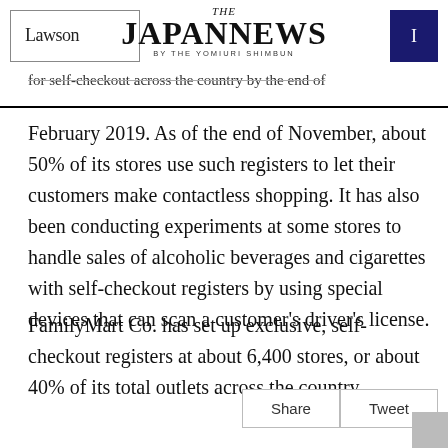THE JAPAN NEWS BY THE YOMIURI SHIMBUN
for self-checkout across the country by the end of February 2019. As of the end of November, about 50% of its stores use such registers to let their customers make contactless shopping. It has also been conducting experiments at some stores to handle sales of alcoholic beverages and cigarettes with self-checkout registers by using special devices that can scan a customer's driver's license.
FamilyMart Co. has set up exclusive, self-checkout registers at about 6,400 stores, or about 40% of its total outlets across the country.